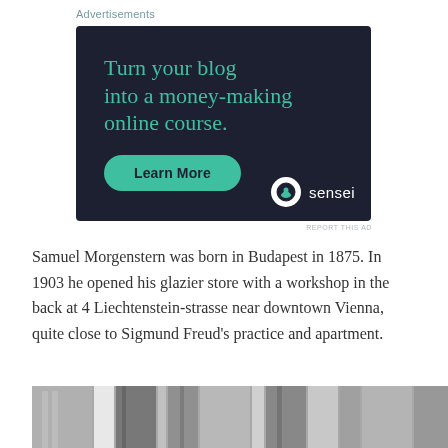Advertisements
[Figure (infographic): Advertisement banner for Sensei with dark background. Headline reads: 'Turn your blog into a money-making online course.' with a teal 'Learn More' button and Sensei logo at bottom right.]
REPORT THIS AD
Samuel Morgenstern was born in Budapest in 1875. In 1903 he opened his glazier store with a workshop in the back at 4 Liechtenstein-strasse near downtown Vienna, quite close to Sigmund Freud's practice and apartment.
[Figure (photo): Partial photo strip at bottom showing building architecture, black and white.]